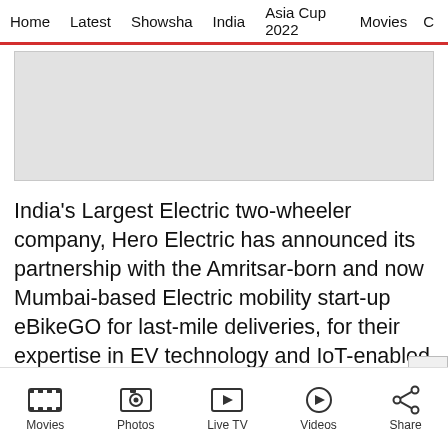Home   Latest   Showsha   India   Asia Cup 2022   Movies   C
[Figure (other): Gray advertisement placeholder banner]
India's Largest Electric two-wheeler company, Hero Electric has announced its partnership with the Amritsar-born and now Mumbai-based Electric mobility start-up eBikeGO for last-mile deliveries, for their expertise in EV technology and IoT-enabled operations. Hero Electric has supplied the first 120 bikes out of 1000 planned for the next financial year. eBikeGO is
Movies   Photos   Live TV   Videos   Share